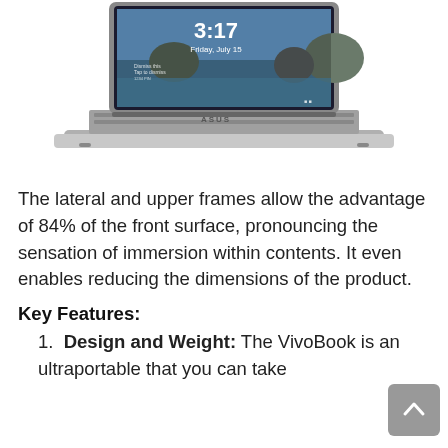[Figure (photo): ASUS VivoBook laptop shown from a slight angle with Windows lock screen displaying time 3:17, Friday July 15, with a scenic beach/rocks wallpaper. The laptop is silver/grey.]
The lateral and upper frames allow the advantage of 84% of the front surface, pronouncing the sensation of immersion within contents. It even enables reducing the dimensions of the product.
Key Features:
Design and Weight: The VivoBook is an ultraportable that you can take